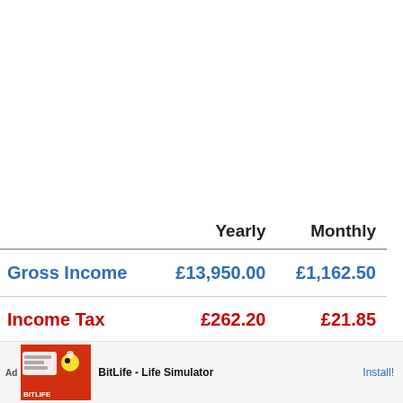|  | Yearly | Monthly |
| --- | --- | --- |
| Gross Income | £13,950.00 | £1,162.50 |
| Income Tax | £262.20 | £21.85 |
| National | £539.28 | £44.94 |
[Figure (screenshot): BitLife advertisement banner at bottom of screen showing 'BitLife - Life Simulator' with Install button]